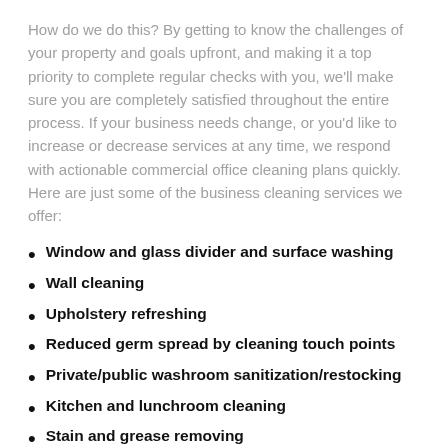How do we do this? By getting to know the challenges of your property and goals upfront, and making it a top priority to complete regular checks with you, we'll make sure you are completely satisfied throughout the entire process. If your business needs change, or you'd like to increase or decrease services at any time, we respond with actionable commercial office cleaning plans quickly. Here are just some of the business cleaning services we offer:
Window and glass divider and surface washing
Wall cleaning
Upholstery refreshing
Reduced germ spread by cleaning touch points
Private/public washroom sanitization/restocking
Kitchen and lunchroom cleaning
Stain and grease removing
Floor stripping, buffing, and waxing
Emergency corporate cleaning services